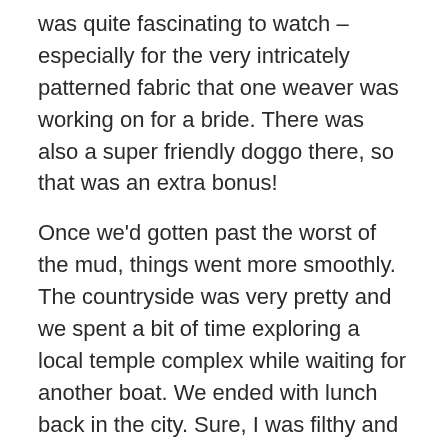was quite fascinating to watch – especially for the very intricately patterned fabric that one weaver was working on for a bride. There was also a super friendly doggo there, so that was an extra bonus!
Once we'd gotten past the worst of the mud, things went more smoothly. The countryside was very pretty and we spent a bit of time exploring a local temple complex while waiting for another boat. We ended with lunch back in the city. Sure, I was filthy and smelly, but it was a pretty great half-day in the saddle.
I'd wisely booked a massage appointment for